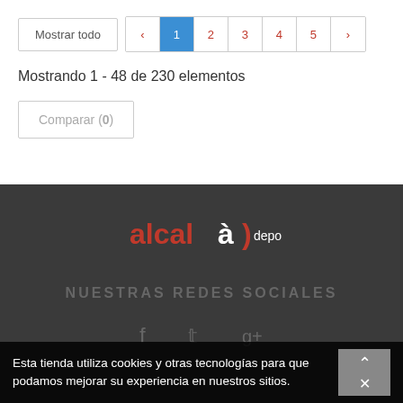[Figure (screenshot): Pagination controls: 'Mostrar todo' button and numbered page buttons (1 active, 2, 3, 4, 5) with left/right arrows]
Mostrando 1 - 48 de 230 elementos
Comparar (0)
[Figure (logo): Alcalà Deporte logo - text 'alcalà)deporte' in red and white on dark background]
NUESTRAS REDES SOCIALES
[Figure (illustration): Social media icons: Facebook, Twitter, Google+]
Esta tienda utiliza cookies y otras tecnologías para que podamos mejorar su experiencia en nuestros sitios.